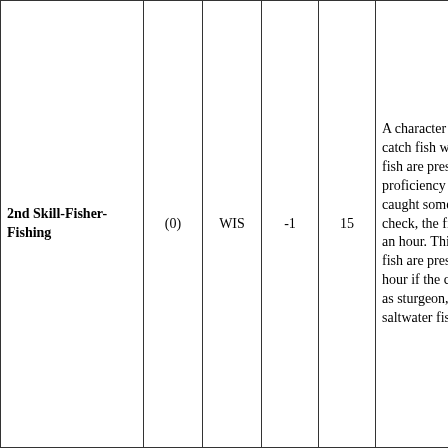| Name | Cost | Stat | Mod | Check | Description |
| --- | --- | --- | --- | --- | --- |
| 2nd Skill-Fisher-Fishing | (0) | WIS | -1 | 15 | A character with this proficiency knows how to catch fish with hook and line, net, and spear. If fish are present in a body of water, a successful proficiency check means the character has caught something. Typically, with a successful check, the fisherman he will catch 1 d6 fish in an hour. This number can be doubled if many fish are present. It is reduced to one fish per hour if the character is seeking large quarry-such as sturgeon, muskellunge, giant carp, or saltwater fish. |